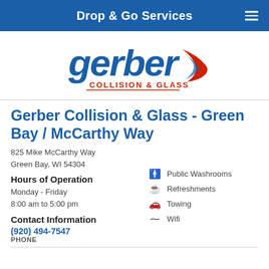Drop & Go Services
[Figure (logo): Gerber Collision & Glass logo with blue script lettering and red/blue swoosh graphic]
Gerber Collision & Glass - Green Bay / McCarthy Way
825 Mike McCarthy Way
Green Bay, WI 54304
Hours of Operation
Monday - Friday
8:00 am to 5:00 pm
Contact Information
(920) 494-7547
PHONE
Public Washrooms
Refreshments
Towing
Wifi